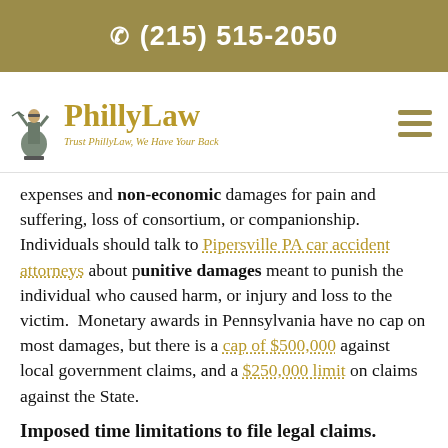☎ (215) 515-2050
[Figure (logo): PhillyLaw logo with Lady Justice figure and text 'PhillyLaw — Trust PhillyLaw, We Have Your Back']
expenses and non-economic damages for pain and suffering, loss of consortium, or companionship.  Individuals should talk to Pipersville PA car accident attorneys about punitive damages meant to punish the individual who caused harm, or injury and loss to the victim.  Monetary awards in Pennsylvania have no cap on most damages, but there is a cap of $500,000 against local government claims, and a $250,000 limit on claims against the State.
Imposed time limitations to file legal claims.